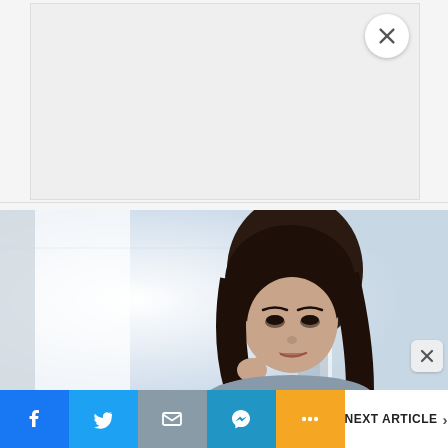[Figure (screenshot): Ad placeholder box with light gray background and X close button in top-right corner]
[Figure (photo): Partial photo of a woman with dark hair looking thoughtful, hand near chin, in a bright indoor environment with window/curtains in background]
[Figure (screenshot): Small X close button overlay in bottom-right of photo area]
NEXT ARTICLE